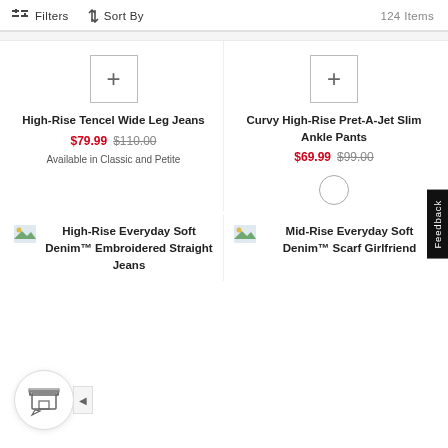Filters  Sort By  124 Items
High-Rise Tencel Wide Leg Jeans  $79.99  $110.00  Available in Classic and Petite
Curvy High-Rise Pret-A-Jet Slim Ankle Pants  $69.99  $99.00
High-Rise Everyday Soft Denim™ Embroidered Straight Jeans
Mid-Rise Everyday Soft Denim™ Scarf Girlfriend